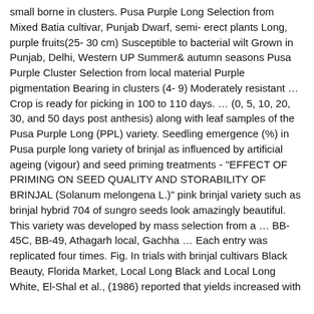small borne in clusters. Pusa Purple Long Selection from Mixed Batia cultivar, Punjab Dwarf, semi- erect plants Long, purple fruits(25- 30 cm) Susceptible to bacterial wilt Grown in Punjab, Delhi, Western UP Summer& autumn seasons Pusa Purple Cluster Selection from local material Purple pigmentation Bearing in clusters (4- 9) Moderately resistant … Crop is ready for picking in 100 to 110 days. … (0, 5, 10, 20, 30, and 50 days post anthesis) along with leaf samples of the Pusa Purple Long (PPL) variety. Seedling emergence (%) in Pusa purple long variety of brinjal as influenced by artificial ageing (vigour) and seed priming treatments - "EFFECT OF PRIMING ON SEED QUALITY AND STORABILITY OF BRINJAL (Solanum melongena L.)" pink brinjal variety such as brinjal hybrid 704 of sungro seeds look amazingly beautiful. This variety was developed by mass selection from a … BB-45C, BB-49, Athagarh local, Gachha … Each entry was replicated four times. Fig. In trials with brinjal cultivars Black Beauty, Florida Market, Local Long Black and Local Long White, El-Shal et al., (1986) reported that yields increased with